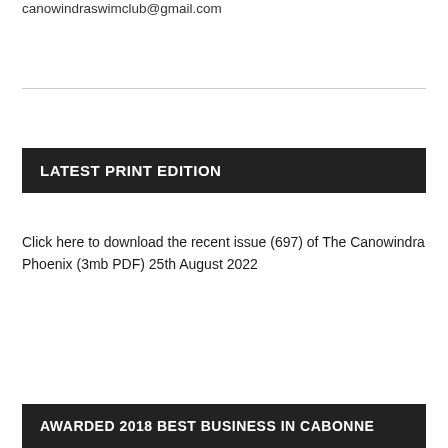canowindraswimclub@gmail.com
LATEST PRINT EDITION
Click here to download the recent issue (697) of The Canowindra Phoenix (3mb PDF) 25th August 2022
AWARDED 2018 BEST BUSINESS IN CABONNE